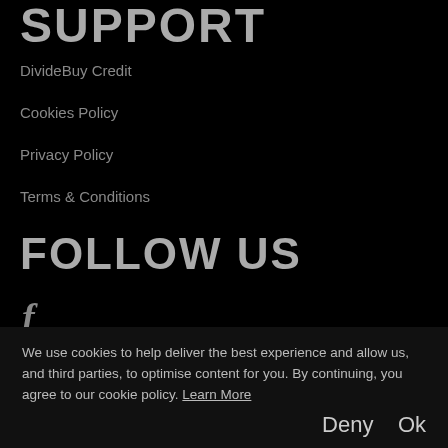SUPPORT
DivideBuy Credit
Cookies Policy
Privacy Policy
Terms & Conditions
FOLLOW US
[Figure (illustration): Facebook icon (stylized lowercase f)]
We use cookies to help deliver the best experience and allow us, and third parties, to optimise content for you. By continuing, you agree to our cookie policy. Learn More
Deny   Ok